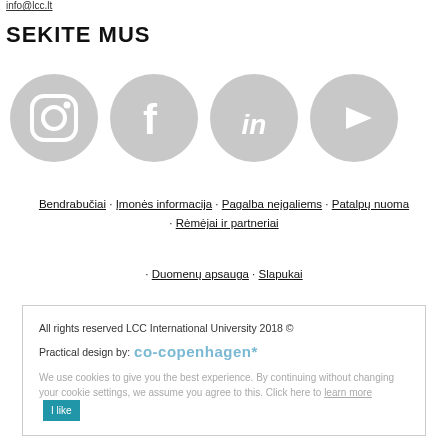info@lcc.lt
SEKITE MUS
[Figure (illustration): Four social media icons in gray circles: Instagram, Facebook, LinkedIn, YouTube]
Bendrabučiai · Įmonės informacija · Pagalba neįgaliems · Patalpų nuoma · Rėmėjai ir partneriai
· Duomenų apsauga · Slapukai
All rights reserved LCC International University 2018 ©
Practical design by: co-copenhagen*
We use cookies to give you the best experience. By continuing without changing your cookie settings, we assume you agree to this. Click here to learn more